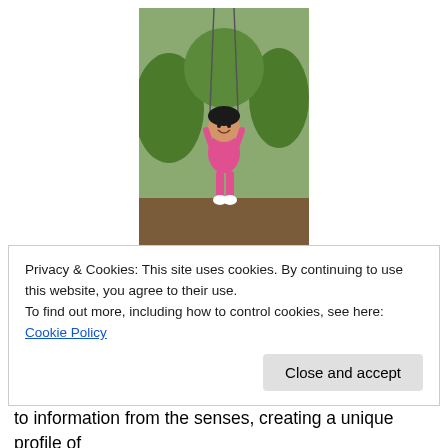[Figure (photo): A young child (toddler girl) on a swing set outdoors, wearing pink clothing, smiling, with green grass and trees in the background.]
Sensory Processing (also known as Sensory Integration) refers to how our nervous system receives messages from our senses and turns them into an “appropriate” motor and behavior response. Developing our understanding of both sensory integration and the development of mutual and
Privacy & Cookies: This site uses cookies. By continuing to use this website, you agree to their use.
To find out more, including how to control cookies, see here: Cookie Policy
to information from the senses, creating a unique profile of